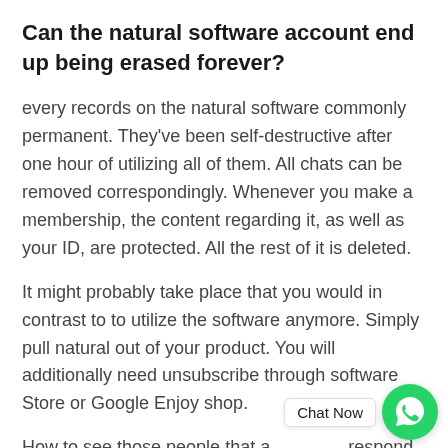Can the natural software account end up being erased forever?
every records on the natural software commonly permanent. They've been self-destructive after one hour of utilizing all of them. All chats can be removed correspondingly. Whenever you make a membership, the content regarding it, as well as your ID, are protected. All the rest of it is deleted.
It might probably take place that you would in contrast to to utilize the software anymore. Simply pull natural out of your product. You will additionally need unsubscribe through software Store or Google Enjoy shop.
How to see those people that are like me respond to all of them throughout the natural